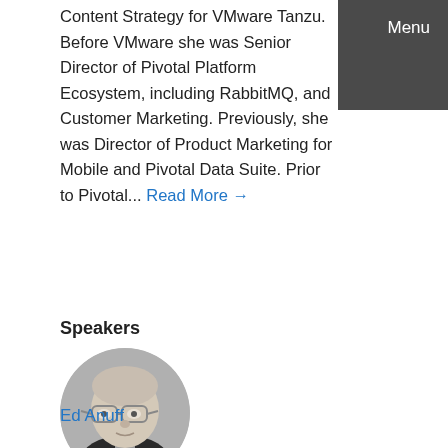Content Strategy for VMware Tanzu. Before VMware she was Senior Director of Pivotal Platform Ecosystem, including RabbitMQ, and Customer Marketing. Previously, she was Director of Product Marketing for Mobile and Pivotal Data Suite. Prior to Pivotal... Read More →
Speakers
[Figure (photo): Circular black and white headshot photo of Ed Anuff, a bald man wearing glasses]
Ed Anuff